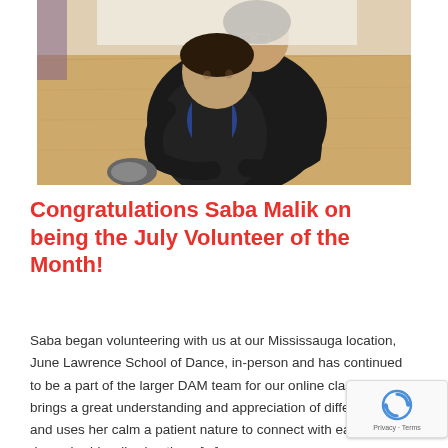[Figure (photo): A young woman with glasses and a black t-shirt sits behind a young boy in a black jacket with blue accents. They are on a wooden floor in what appears to be a dance studio. The woman is smiling and has her arms around the boy.]
Congratulations Saba Malik on being the July Volunteer of the Month!
Saba began volunteering with us at our Mississauga location, June Lawrence School of Dance, in-person and has continued to be a part of the larger DAM team for our online classes! She brings a great understanding and appreciation of differences and uses her calm and patient nature to connect with each dance buddy, allowing them [...]